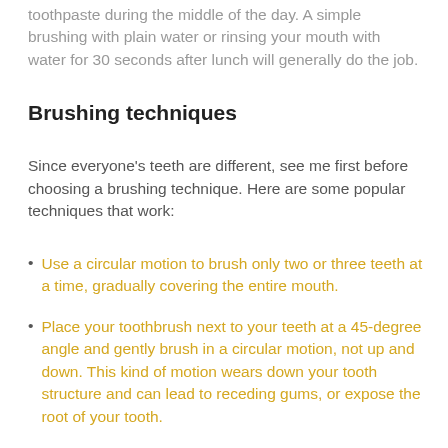toothpaste during the middle of the day. A simple brushing with plain water or rinsing your mouth with water for 30 seconds after lunch will generally do the job.
Brushing techniques
Since everyone's teeth are different, see me first before choosing a brushing technique. Here are some popular techniques that work:
Use a circular motion to brush only two or three teeth at a time, gradually covering the entire mouth.
Place your toothbrush next to your teeth at a 45-degree angle and gently brush in a circular motion, not up and down. This kind of motion wears down your tooth structure and can lead to receding gums, or expose the root of your tooth.